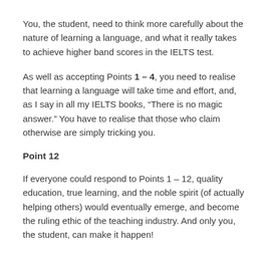You, the student, need to think more carefully about the nature of learning a language, and what it really takes to achieve higher band scores in the IELTS test.
As well as accepting Points 1 – 4, you need to realise that learning a language will take time and effort, and, as I say in all my IELTS books, “There is no magic answer.” You have to realise that those who claim otherwise are simply tricking you.
Point 12
If everyone could respond to Points 1 – 12, quality education, true learning, and the noble spirit (of actually helping others) would eventually emerge, and become the ruling ethic of the teaching industry. And only you, the student, can make it happen!